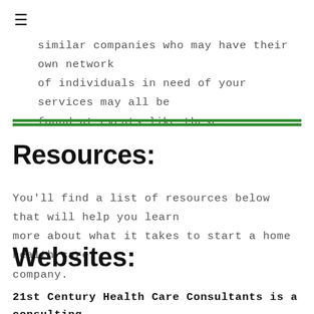≡
similar companies who may have their own network of individuals in need of your services may all be found at events like these.
Resources:
You'll find a list of resources below that will help you learn more about what it takes to start a home health care company.
Websites:
21st Century Health Care Consultants is a consulting